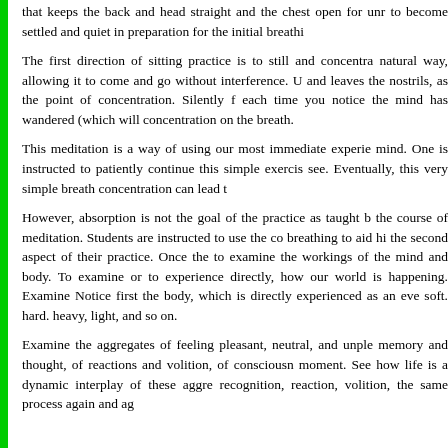that keeps the back and head straight and the chest open for unr to become settled and quiet in preparation for the initial breathi
The first direction of sitting practice is to still and concentra natural way, allowing it to come and go without interference. U and leaves the nostrils, as the point of concentration. Silently f each time you notice the mind has wandered (which will concentration on the breath.
This meditation is a way of using our most immediate experie mind. One is instructed to patiently continue this simple exercis see. Eventually, this very simple breath concentration can lead t
However, absorption is not the goal of the practice as taught b the course of meditation. Students are instructed to use the co breathing to aid hi the second aspect of their practice. Once the to examine the workings of the mind and body. To examine or to experience directly, how our world is happening. Examine Notice first the body, which is directly experienced as an eve soft. hard. heavy, light, and so on.
Examine the aggregates of feeling pleasant, neutral, and unple memory and thought, of reactions and volition, of consciousn moment. See how life is a dynamic interplay of these aggre recognition, reaction, volition, the same process again and ag